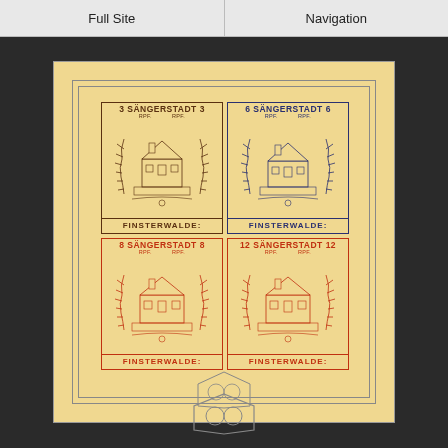Full Site | Navigation
[Figure (illustration): A philatelic souvenir sheet from Finsterwalde (Sangerstadt) featuring four imperforate stamps: 3pf brown, 6pf blue, 8pf red, and 12pf red, each depicting a building with decorative border elements. Sheet printed on yellowish paper with outer rectangle border.]